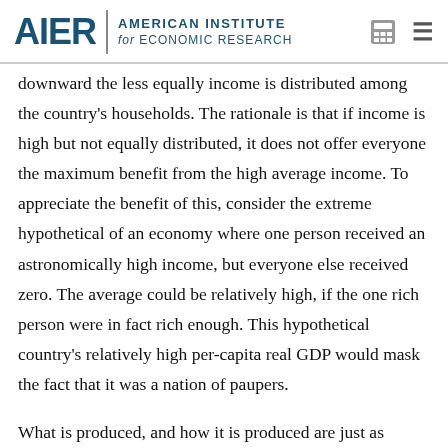AIER | AMERICAN INSTITUTE for ECONOMIC RESEARCH
downward the less equally income is distributed among the country's households. The rationale is that if income is high but not equally distributed, it does not offer everyone the maximum benefit from the high average income. To appreciate the benefit of this, consider the extreme hypothetical of an economy where one person received an astronomically high income, but everyone else received zero. The average could be relatively high, if the one rich person were in fact rich enough. This hypothetical country's relatively high per-capita real GDP would mask the fact that it was a nation of paupers.
What is produced, and how it is produced are just as important as how much is produced. The composition of